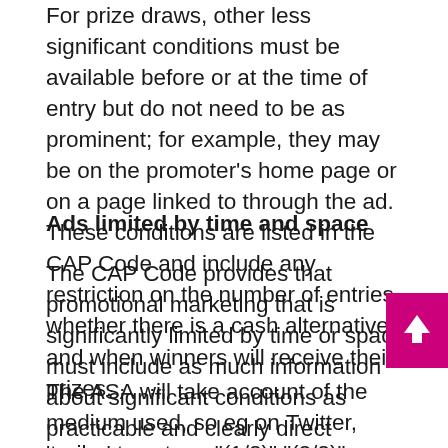For prize draws, other less significant conditions must be available before or at the time of entry but do not need to be as prominent; for example, they may be on the promoter's home page or on a page linked to through the ad. These conditions are listed in the CAP Code and include any restriction on the number of entries, whether there is a cash alternative and when winners will receive their prizes.
Ads limited by time and space
The CAP Code provides that promotional marketing that is significantly limited by time or space must include as much information about significant conditions as practicable and clearly direct consumers to an easily accessible source where all significant conditions are prominently stated
The ASA will take account of the medium used, so eg on Twitter, 'trailer' tweets or "(1/2)" "(2/2)" may be used. A